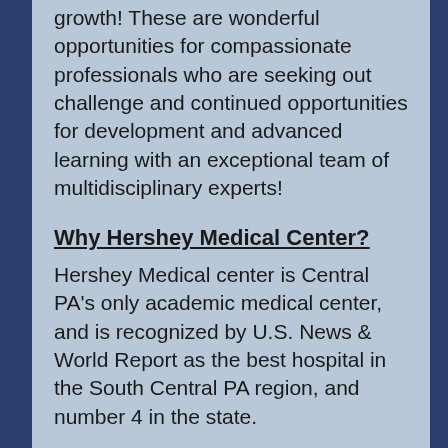growth! These are wonderful opportunities for compassionate professionals who are seeking out challenge and continued opportunities for development and advanced learning with an exceptional team of multidisciplinary experts!
Why Hershey Medical Center?
Hershey Medical center is Central PA's only academic medical center, and is recognized by U.S. News & World Report as the best hospital in the South Central PA region, and number 4 in the state.
Hershey Medical Center is also the only Level I Trauma Center for both adult and pediatric patients in this region and is nationally ranked in